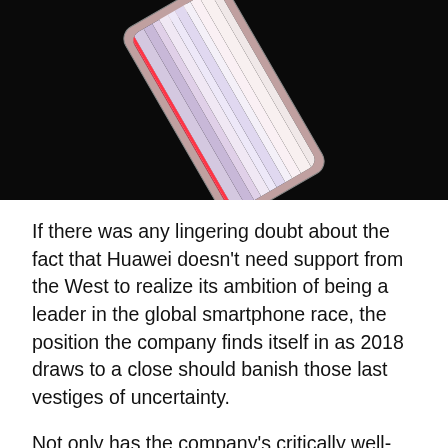[Figure (photo): A Huawei smartphone photographed at an angle against a black background, showing a colorful striped display screen with a red accent on the frame.]
If there was any lingering doubt about the fact that Huawei doesn't need support from the West to realize its ambition of being a leader in the global smartphone race, the position the company finds itself in as 2018 draws to a close should banish those last vestiges of uncertainty.
Not only has the company's critically well-regarded handsets suffered bans around the world led in part by concern from US security